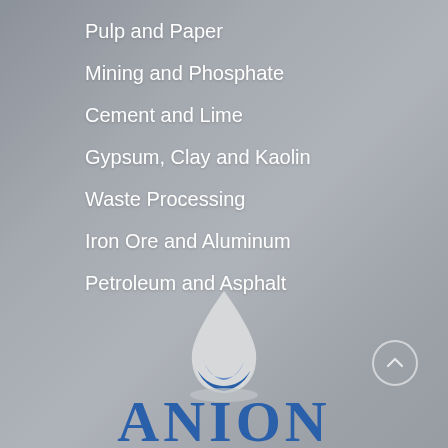Pulp and Paper
Mining and Phosphate
Cement and Lime
Gypsum, Clay and Kaolin
Waste Processing
Iron Ore and Aluminum
Petroleum and Asphalt
[Figure (logo): ANION company logo with water droplet icon above the word ANION in blue serif capitals]